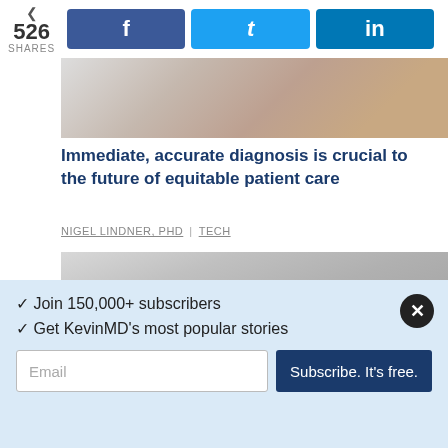526 SHARES | Facebook | Twitter | LinkedIn
[Figure (photo): Partial photo showing a hand, top portion cropped]
Immediate, accurate diagnosis is crucial to the future of equitable patient care
NIGEL LINDNER, PHD | TECH
[Figure (photo): Black and white photo of a stethoscope on papers/documents]
✓ Join 150,000+ subscribers
✓ Get KevinMD's most popular stories
Email — Subscribe. It's free.